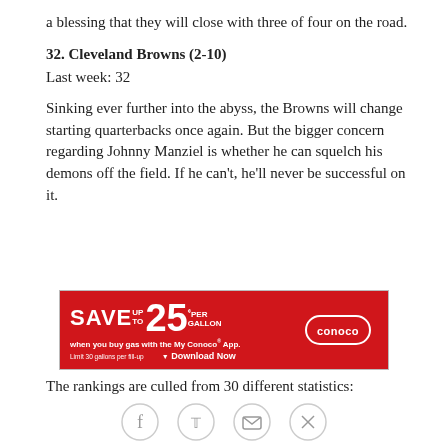a blessing that they will close with three of four on the road.
32. Cleveland Browns (2-10)
Last week: 32
Sinking ever further into the abyss, the Browns will change starting quarterbacks once again. But the bigger concern regarding Johnny Manziel is whether he can squelch his demons off the field. If he can't, he'll never be successful on it.
[Figure (other): Conoco advertisement: SAVE UP TO 25 cents PER GALLON when you buy gas with the My Conoco App. Limit 30 gallons per fill-up. Download Now. Conoco logo.]
The rankings are culled from 30 different statistics:
[Figure (other): Social media sharing icons: Facebook, Twitter, Email, Link]